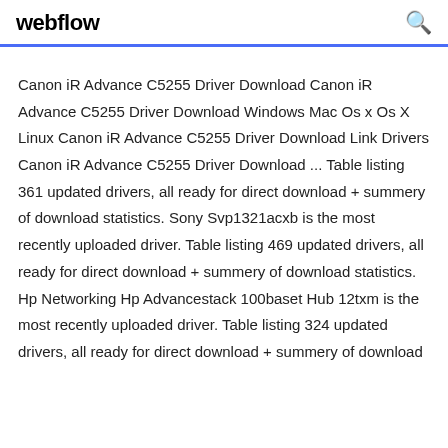webflow
Canon iR Advance C5255 Driver Download Canon iR Advance C5255 Driver Download Windows Mac Os x Os X Linux Canon iR Advance C5255 Driver Download Link Drivers Canon iR Advance C5255 Driver Download ... Table listing 361 updated drivers, all ready for direct download + summery of download statistics. Sony Svp1321acxb is the most recently uploaded driver. Table listing 469 updated drivers, all ready for direct download + summery of download statistics. Hp Networking Hp Advancestack 100baset Hub 12txm is the most recently uploaded driver. Table listing 324 updated drivers, all ready for direct download + summery of download